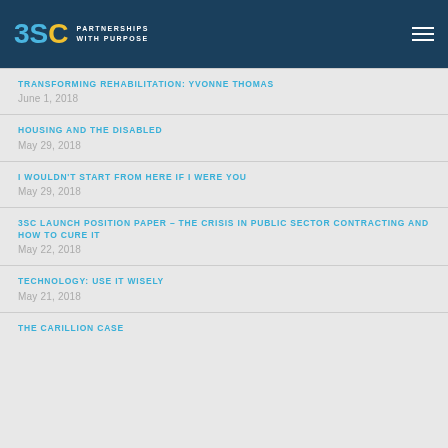[Figure (logo): 3SC Partnerships With Purpose logo on dark navy header with hamburger menu icon]
TRANSFORMING REHABILITATION: YVONNE THOMAS
June 1, 2018
HOUSING AND THE DISABLED
May 29, 2018
I WOULDN'T START FROM HERE IF I WERE YOU
May 29, 2018
3SC LAUNCH POSITION PAPER – THE CRISIS IN PUBLIC SECTOR CONTRACTING AND HOW TO CURE IT
May 22, 2018
TECHNOLOGY: USE IT WISELY
May 21, 2018
THE CARILLION CASE